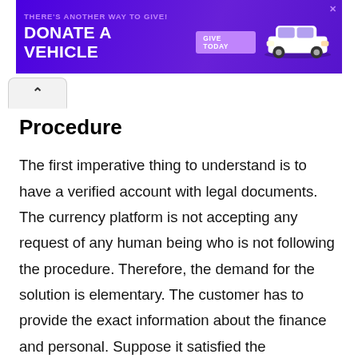[Figure (other): Advertisement banner with purple background. Text reads 'THERE'S ANOTHER WAY TO GIVE! DONATE A VEHICLE' with a 'GIVE TODAY' button and a white car image on the right.]
Procedure
The first imperative thing to understand is to have a verified account with legal documents. The currency platform is not accepting any request of any human being who is not following the procedure. Therefore, the demand for the solution is elementary. The customer has to provide the exact information about the finance and personal. Suppose it satisfied the requirement under the law and has no involvement with the terrorism group. Then, the respected human is ready to get the account and make the first request to convert the